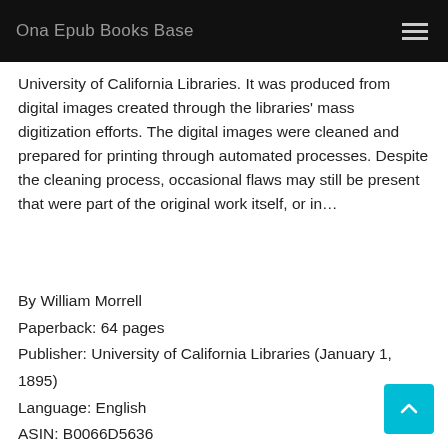Ona Epub Books Base
University of California Libraries. It was produced from digital images created through the libraries' mass digitization efforts. The digital images were cleaned and prepared for printing through automated processes. Despite the cleaning process, occasional flaws may still be present that were part of the original work itself, or in…
By William Morrell
Paperback: 64 pages
Publisher: University of California Libraries (January 1, 1895)
Language: English
ASIN: B0066D5636
Product Dimensions: 5.5 x 0.2 x 8.5 inches
Format: PDF Text TXT ebook